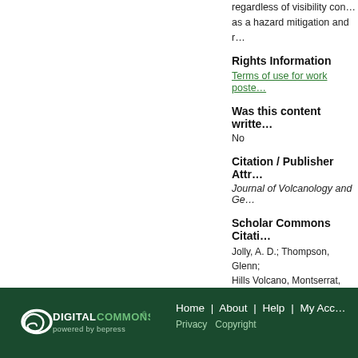regardless of visibility con... as a hazard mitigation and r...
Rights Information
Terms of use for work poste...
Was this content writte...
No
Citation / Publisher Attr...
Journal of Volcanology and Ge...
Scholar Commons Citati...
Jolly, A. D.; Thompson, Glenn; Hills Volcano, Montserrat, Wes... Range Instruments" (2002). Sch... https://digitalcommons.usf.ed...
Home | About | Help | My Acc... Privacy Copyright